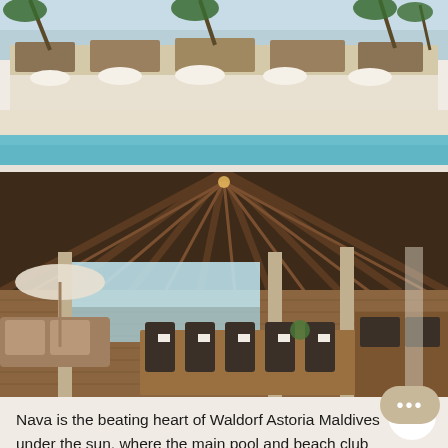[Figure (photo): Aerial view of a tropical beach resort with white sand, turquoise water, thatched-roof beach loungers, and palm trees]
[Figure (photo): Interior of an open-air beach club restaurant with wooden decking, woven furniture, set dining tables, and a view of the ocean through large open walls]
Nava is the beating heart of Waldorf Astoria Maldives under the sun, where the main pool and beach club sits. Stretching along the white sand beach lies a cozy ambiance, stunning lagoon and live DJs set the tone to the ideal afternoon at